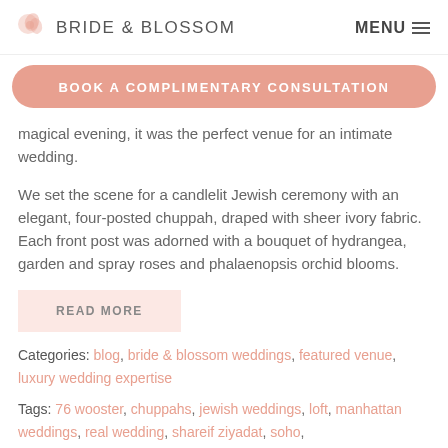BRIDE & BLOSSOM  MENU
BOOK A COMPLIMENTARY CONSULTATION
magical evening, it was the perfect venue for an intimate wedding.
We set the scene for a candlelit Jewish ceremony with an elegant, four-posted chuppah, draped with sheer ivory fabric. Each front post was adorned with a bouquet of hydrangea, garden and spray roses and phalaenopsis orchid blooms.
READ MORE
Categories: blog, bride & blossom weddings, featured venue, luxury wedding expertise
Tags: 76 wooster, chuppahs, jewish weddings, loft, manhattan weddings, real wedding, shareif ziyadat, soho,